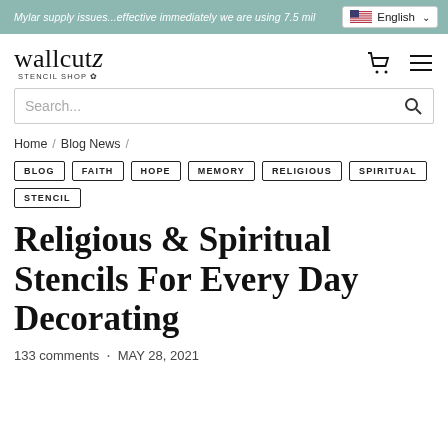Mylar supply issues...effective immediately we are using 7.5 mil
[Figure (logo): wallcutz Stencil Shop logo with decorative floral element]
Search...
Home / Blog News /
BLOG
FAITH
HOPE
MEMORY
RELIGIOUS
SPIRITUAL
STENCIL
Religious & Spiritual Stencils For Every Day Decorating
133 comments  ·  MAY 28, 2021